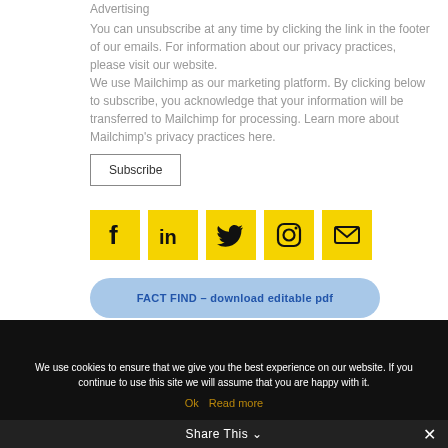Advertising
You can unsubscribe at any time by clicking the link in the footer of our emails. For information about our privacy practices, please visit our website.
We use Mailchimp as our marketing platform. By clicking below to subscribe, you acknowledge that your information will be transferred to Mailchimp for processing. Learn more about Mailchimp's privacy practices here.
Subscribe
[Figure (infographic): Five yellow square social media icon buttons: Facebook (f), LinkedIn (in), Twitter (bird), Instagram (camera), Email (envelope)]
FACT FIND – download editable pdf
We use cookies to ensure that we give you the best experience on our website. If you continue to use this site we will assume that you are happy with it.
Ok   Read more
Share This